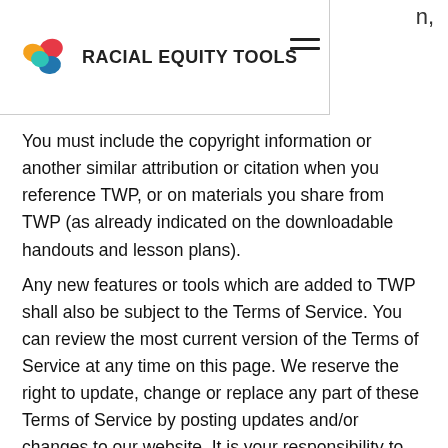RACIAL EQUITY TOOLS
You must include the copyright information or another similar attribution or citation when you reference TWP, or on materials you share from TWP (as already indicated on the downloadable handouts and lesson plans).
Any new features or tools which are added to TWP shall also be subject to the Terms of Service. You can review the most current version of the Terms of Service at any time on this page. We reserve the right to update, change or replace any part of these Terms of Service by posting updates and/or changes to our website. It is your responsibility to check this page periodically for changes. Your continued use of or access to TWP following the